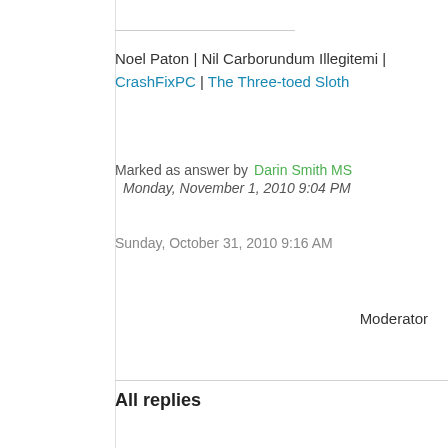Noel Paton | Nil Carborundum Illegitemi | CrashFixPC | The Three-toed Sloth
Marked as answer by   Darin Smith MS   Monday, November 1, 2010 9:04 PM
Sunday, October 31, 2010 9:16 AM
Moderator
All replies
[Figure (other): User avatar placeholder icon (grey square with chat bubble icon) and upvote arrow with count 0]